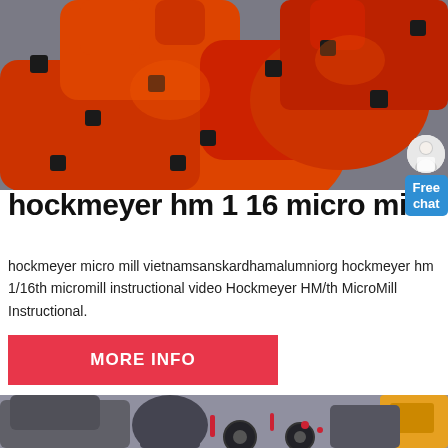[Figure (photo): Close-up photo of orange painted heavy industrial mill machinery parts with black bolts and fittings]
hockmeyer hm 1 16 micro mil
hockmeyer micro mill vietnamsanskardhamalumniorg hockmeyer hm 1/16th micromill instructional video Hockmeyer HM/th MicroMill Instructional.
[Figure (other): Free chat button with small figure of person in white coat]
[Figure (photo): Industrial grinding/milling machinery in a factory setting, with large wheels and red accents, yellow equipment in background]